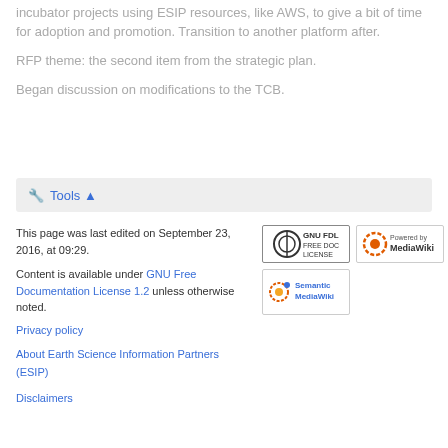incubator projects using ESIP resources, like AWS, to give a bit of time for adoption and promotion. Transition to another platform after.
RFP theme: the second item from the strategic plan.
Began discussion on modifications to the TCB.
Tools
This page was last edited on September 23, 2016, at 09:29.
Content is available under GNU Free Documentation License 1.2 unless otherwise noted.
Privacy policy
About Earth Science Information Partners (ESIP)
Disclaimers
[Figure (logo): GNU FDL Free Doc License badge]
[Figure (logo): Powered by MediaWiki badge]
[Figure (logo): Semantic MediaWiki badge]